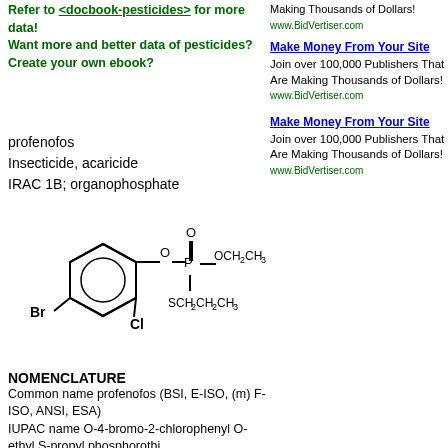Refer to <docbook-pesticides> for more data!
Want more and better data of pesticides? Create your own ebook?
[Figure (illustration): Chemical structure of profenofos showing a bromochlorophenyl ring connected via oxygen to a phosphorothioate group with OCH2CH3 and SCH2CH2CH3 substituents]
profenofos
Insecticide, acaricide
IRAC 1B; organophosphate
NOMENCLATURE
Common name profenofos (BSI, E-ISO, (m) F-ISO, ANSI, ESA)
IUPAC name O-4-bromo-2-chlorophenyl O-ethyl S-propyl phosphorothi
Chemical Abstracts name O-(4-bromo-2-chlorophenyl) O-ethyl S-propy
CAS RN [41198-08-7] EEC no. 255-255-2 Development codes CGA 15
PHYSICAL CHEMISTRY
Composition Tech. is ³98%. Mol. wt. 373.6 M.f. C11H15BrClO3PS Form
°C/1.80 Pa V.p. 1.24´ 10-1 mPa (25 °C) (OECD 104) KOW logP = 4.44
S.g./density 1.455 (20 °C) (OECD 109) Solubility In water 28 mg/l (25 °
Relatively stable under neutral and slightly acidic conditions. Unstable a
(20 °C) 93 d (pH 5), 14.6 d (pH 7), 5.7 h (pH 9). pKa No dissociation co